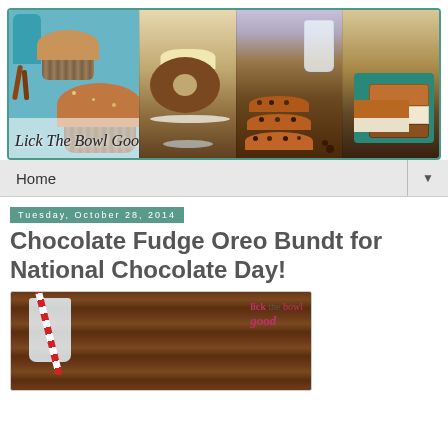[Figure (photo): Blog header banner showing four food photos: muffins with cinnamon, glazed bundt cake, stacked chocolate chip cookies with milk, and layered dessert bars. Text overlay reads 'Lick The Bowl Good']
Home ▼
Tuesday, October 28, 2014
Chocolate Fudge Oreo Bundt for National Chocolate Day!
[Figure (photo): Photo of a glass of milk with a red and white striped straw on a wooden table background. Watermark text 'lick the bowl good' visible in upper right.]